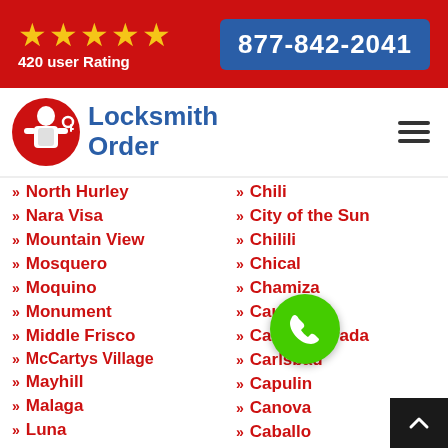420 user Rating | 877-842-2041
[Figure (logo): Locksmith Order logo with locksmith figure and text]
North Hurley
Nara Visa
Mountain View
Mosquero
Moquino
Monument
Middle Frisco
McCartys Village
Mayhill
Malaga
Luna
Chili
City of the Sun
Chilili
Chical
Chamiza
Causey
Casa Colorada
Carlsbad
Capulin
Canova
Caballo